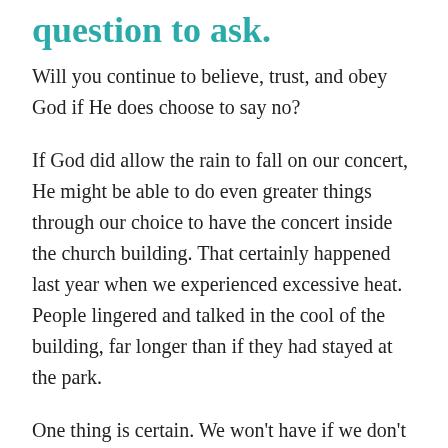question to ask.
Will you continue to believe, trust, and obey God if He does choose to say no?
If God did allow the rain to fall on our concert, He might be able to do even greater things through our choice to have the concert inside the church building. That certainly happened last year when we experienced excessive heat. People lingered and talked in the cool of the building, far longer than if they had stayed at the park.
One thing is certain. We won't have if we don't ask.